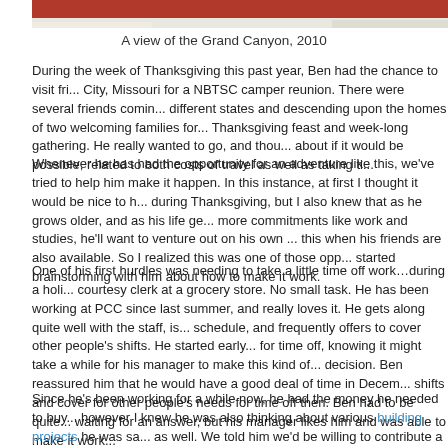[Figure (photo): Top portion of a photo showing Grand Canyon, 2010 - partially visible]
A view of the Grand Canyon, 2010
During the week of Thanksgiving this past year, Ben had the chance to visit friends in Kansas City, Missouri for a NBTSC camper reunion. There were several friends coming from different states and descending upon the homes of two welcoming families for a Thanksgiving feast and week-long gathering. He really wanted to go, and thought about if it would be possible, related to both costs of travel as well as taking time...
Whenever he has had the opportunity for an adventure like this, we've tried to help him make it happen. In this instance, at first I thought it would be nice to have him home during Thanksgiving, but I also knew that as he grows older, and as his life gets more commitments like work and studies, he'll want to venture out on his own and do this when his friends are also available. So I realized this was one of those opportunities and started brainstorming with him about how to make it work.
One of his first hurdles was needing to take a little time off work...during a holiday, as a courtesy clerk at a grocery store. No small task. He has been working at PCC since last summer, and really loves it. He gets along quite well with the staff, is flexible on schedule, and frequently offers to cover other people's shifts. He started early on to ask for time off, knowing it might take a while for his manager to make this kind of decision. Ben reassured him that he would have a good deal of time in December to pick up shifts and cover for other people's needs for time off then. Ben had to be quite patient waiting for an answer, but his manager likes him and was able to make it work.
Since he's been working for a while now, he had the money he needed to buy the ticket, however I knew he was also thinking about various building projects he was saving up for as well. We told him we'd be willing to contribute a bit, and this was helpful when he found that tickets would cost more depending on the holiday dates he traveled. I like supporting these kinds of adventures when we can afford it, because I know how exciting...